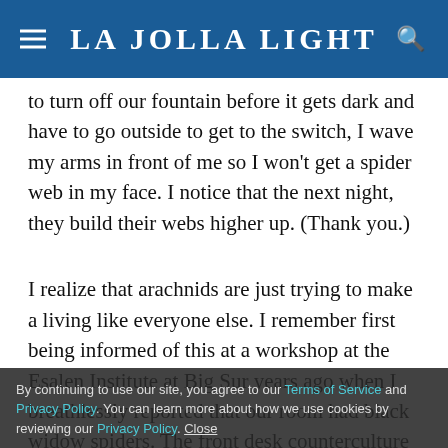La Jolla Light
to turn off our fountain before it gets dark and have to go outside to get to the switch, I wave my arms in front of me so I won't get a spider web in my face. I notice that the next night, they build their webs higher up. (Thank you.)
I realize that arachnids are just trying to make a living like everyone else. I remember first being informed of this at a workshop at the Esalen Institute at Big Sur years ago when I breathlessly reported that our room had black widow spiders. The front desk counterculture kid replied with barely disguised ennui that the spiders have as much right to life as I did. (I chose to squash
By continuing to use our site, you agree to our Terms of Service and Privacy Policy. You can learn more about how we use cookies by reviewing our Privacy Policy. Close